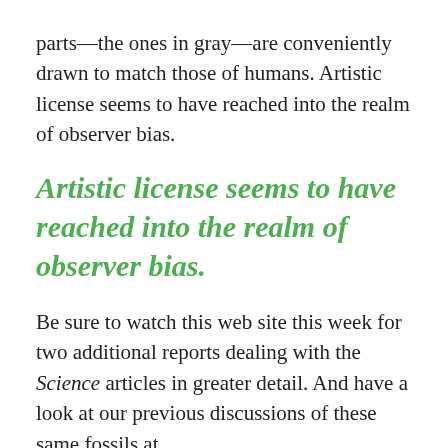parts—the ones in gray—are conveniently drawn to match those of humans. Artistic license seems to have reached into the realm of observer bias.
Artistic license seems to have reached into the realm of observer bias.
Be sure to watch this web site this week for two additional reports dealing with the Science articles in greater detail. And have a look at our previous discussions of these same fossils at